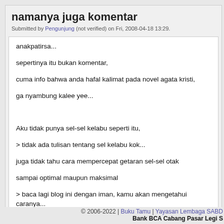namanya juga komentar
Submitted by Pengunjung (not verified) on Fri, 2008-04-18 13:29.
anakpatirsa...

sepertinya itu bukan komentar,

cuma info bahwa anda hafal kalimat pada novel agata kristi,

ga nyambung kalee yee...


Aku tidak punya sel-sel kelabu seperti itu,

> tidak ada tulisan tentang sel kelabu kok...

juga tidak tahu cara mempercepat getaran sel-sel otak

sampai optimal maupun maksimal

> baca lagi blog ini dengan iman, kamu akan mengetahui caranya...
Belum ada user yang menyukai
© 2006-2022 | Buku Tamu | Yayasan Lembaga SABD
Bank BCA Cabang Pasar Legi S